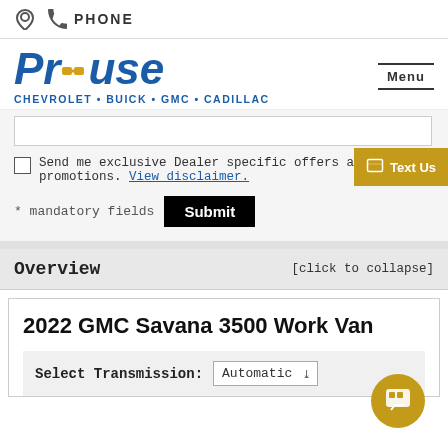PHONE
[Figure (logo): Prouse Chevrolet Buick GMC Cadillac logo with blue italic text and gold bowtie emblem]
Send me exclusive Dealer specific offers and promotions. View disclaimer.
* mandatory fields  Submit
Overview  [click to collapse]
2022 GMC Savana 3500 Work Van
Select Transmission: Automatic